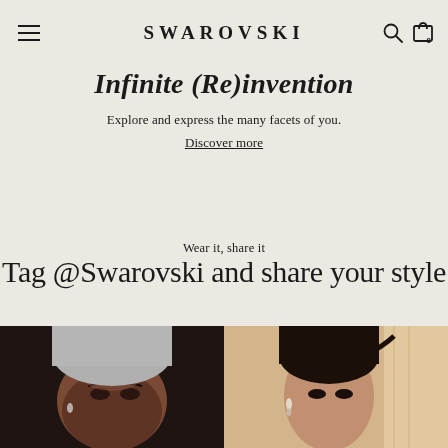SWAROVSKI
Infinite (Re)invention
Explore and express the many facets of you.
Discover more
Wear it, share it
Tag @Swarovski and share your style
[Figure (photo): Close-up of a woman wearing silver earrings with a grey head wrap]
[Figure (photo): Woman with dark hair pulled back wearing crystal earrings in warm-toned light]